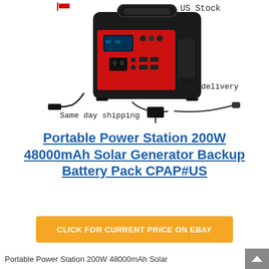[Figure (photo): Product photo of a portable power station (black with red front panel, brand FUNORCLU) with accessories including car adapter and AC adapter. Text annotations: 'US Stock' top right, 'Fast delivery' right side, 'Same day shipping' bottom left. Small red/white flag icon top left.]
Portable Power Station 200W 48000mAh Solar Generator Backup Battery Pack CPAP#US
CLICK FOR CURRENT PRICE ON EBAY
Portable Power Station 200W 48000mAh Solar